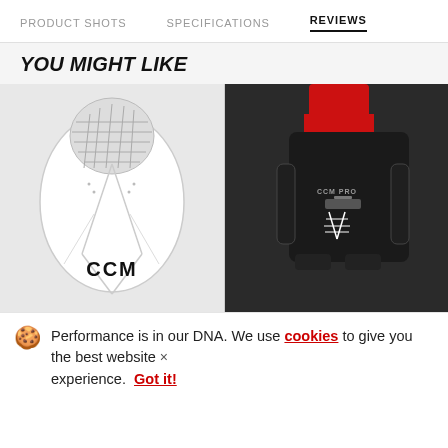PRODUCT SHOTS   SPECIFICATIONS   REVIEWS
YOU MIGHT LIKE
[Figure (photo): Two product images side by side on a light gray background: left shows a CCM white goalie catcher glove, right shows a black and red CCM hockey girdle/protective pants]
🍪 Performance is in our DNA. We use cookies to give you the best website experience.  Got it!  ×